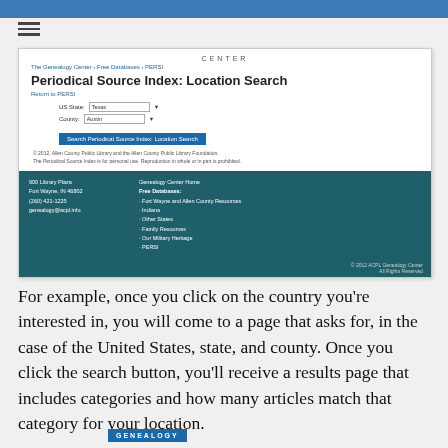[Figure (screenshot): Screenshot of the Periodical Source Index: Location Search page from The Genealogy Center website. Shows a form with US State and County dropdowns, a blue search button, and a dark teal footer with address and links.]
For example, once you click on the country you're interested in, you will come to a page that asks for, in the case of the United States, state, and county. Once you click the search button, you'll receive a results page that includes categories and how many articles match that category for your location.
GENEALOGY